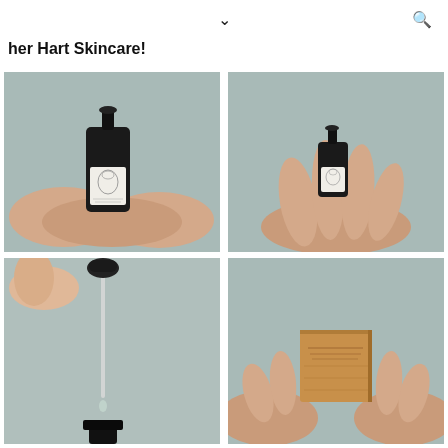her Hart Skincare!
[Figure (photo): Hands cupping a dark glass dropper bottle with illustrated face label, against blue-grey linen background]
[Figure (photo): One hand holding a small dark glass dropper bottle with illustrated face label, against blue-grey linen background]
[Figure (photo): Close-up of dropper pipette with liquid drop, above dark glass bottle top]
[Figure (photo): Hands holding a small kraft cardboard box, against blue-grey linen background]